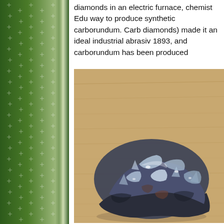diamonds in an electric furnace, chemist Edu way to produce synthetic carborundum. Carb diamonds) made it an ideal industrial abrasiv 1893, and carborundum has been produced
[Figure (photo): Close-up photograph of a chunk of carborundum (silicon carbide) crystal showing metallic blue-purple iridescent facets, resting on a wooden surface. Left side of page shows a decorative green background with white star/cross pattern.]